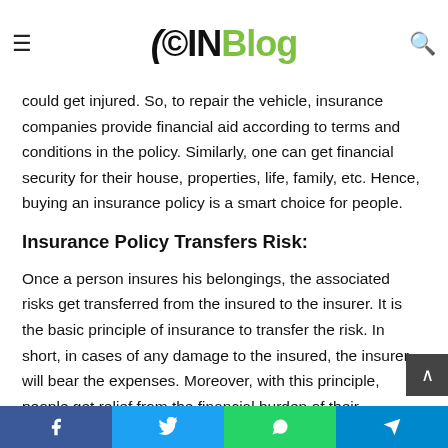(©IN Blog — navigation bar with hamburger, logo, and search icon
could get injured. So, to repair the vehicle, insurance companies provide financial aid according to terms and conditions in the policy. Similarly, one can get financial security for their house, properties, life, family, etc. Hence, buying an insurance policy is a smart choice for people.
Insurance Policy Transfers Risk:
Once a person insures his belongings, the associated risks get transferred from the insured to the insurer. It is the basic principle of insurance to transfer the risk. In short, in cases of any damage to the insured, the insurer will bear the expenses. Moreover, with this principle, people get relief from the financial burden of their belongings. Transferring risk does...
Facebook  Twitter  WhatsApp  Telegram